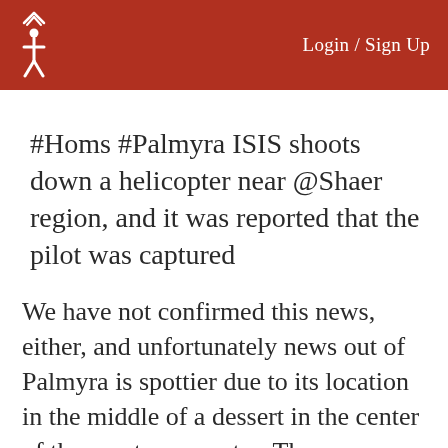Login / Sign Up
#Homs #Palmyra ISIS shoots down a helicopter near @Shaer region, and it was reported that the pilot was captured
We have not confirmed this news, either, and unfortunately news out of Palmyra is spottier due to its location in the middle of a dessert in the center of the war torn country. There are multiple similar reports on various social media